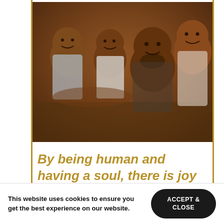[Figure (photo): A vintage family photograph showing a man with children, all smiling and posing together. The photo has warm brown tones characteristic of older film photography.]
By being human and having a soul, there is joy and mourning. Within Holy week, Christ was praised and adored in his confident human flesh.
This website uses cookies to ensure you get the best experience on our website.